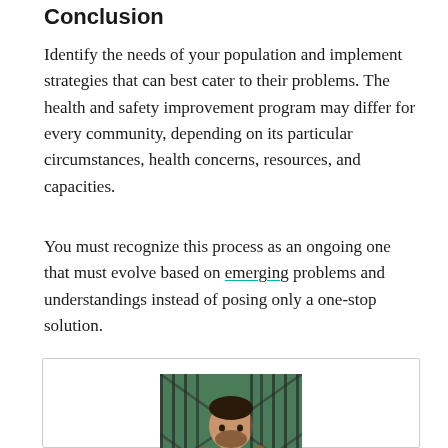Conclusion
Identify the needs of your population and implement strategies that can best cater to their problems. The health and safety improvement program may differ for every community, depending on its particular circumstances, health concerns, resources, and capacities.
You must recognize this process as an ongoing one that must evolve based on emerging problems and understandings instead of posing only a one-stop solution.
[Figure (photo): A man in a plaid shirt standing in front of a metal gate with greenery in the background]